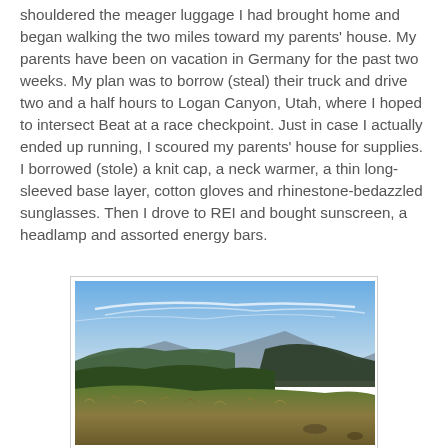shouldered the meager luggage I had brought home and began walking the two miles toward my parents' house. My parents have been on vacation in Germany for the past two weeks. My plan was to borrow (steal) their truck and drive two and a half hours to Logan Canyon, Utah, where I hoped to intersect Beat at a race checkpoint. Just in case I actually ended up running, I scoured my parents' house for supplies. I borrowed (stole) a knit cap, a neck warmer, a thin long-sleeved base layer, cotton gloves and rhinestone-bedazzled sunglasses. Then I drove to REI and bought sunscreen, a headlamp and assorted energy bars.
[Figure (photo): Landscape photograph showing a mountain valley scene with blue sky, wispy clouds, distant misty lake or valley floor, forested hills, and dry grassy foreground slope.]